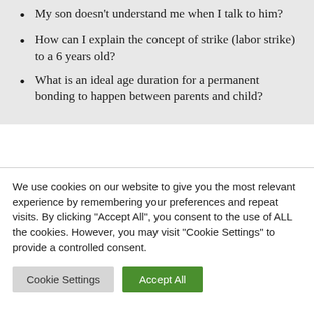My son doesn’t understand me when I talk to him?
How can I explain the concept of strike (labor strike) to a 6 years old?
What is an ideal age duration for a permanent bonding to happen between parents and child?
We use cookies on our website to give you the most relevant experience by remembering your preferences and repeat visits. By clicking “Accept All”, you consent to the use of ALL the cookies. However, you may visit “Cookie Settings” to provide a controlled consent.